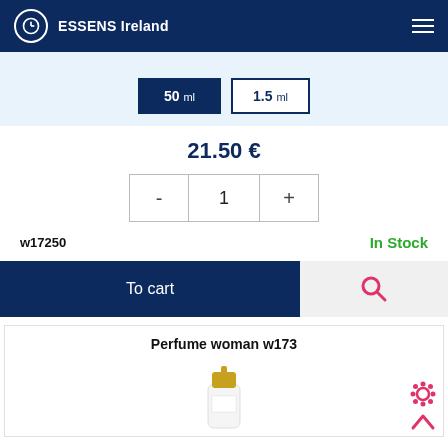ESSENS Ireland
[Figure (screenshot): Size selection buttons: 50 ml (active, dark blue) and 1.5 ml (inactive, white outline)]
21.50 €
[Figure (infographic): Quantity selector with minus, 1, plus buttons]
w17250
In Stock
To cart
Perfume woman w173
[Figure (photo): Partial image of a perfume bottle with white body and gold cap]